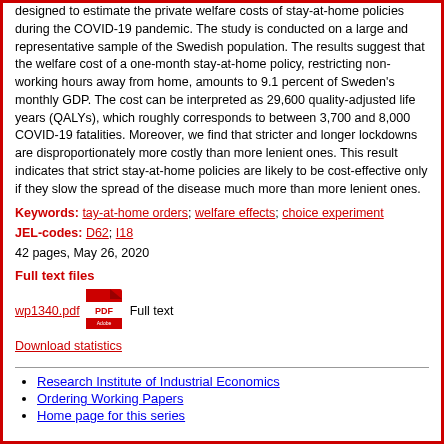designed to estimate the private welfare costs of stay-at-home policies during the COVID-19 pandemic. The study is conducted on a large and representative sample of the Swedish population. The results suggest that the welfare cost of a one-month stay-at-home policy, restricting non-working hours away from home, amounts to 9.1 percent of Sweden's monthly GDP. The cost can be interpreted as 29,600 quality-adjusted life years (QALYs), which roughly corresponds to between 3,700 and 8,000 COVID-19 fatalities. Moreover, we find that stricter and longer lockdowns are disproportionately more costly than more lenient ones. This result indicates that strict stay-at-home policies are likely to be cost-effective only if they slow the spread of the disease much more than more lenient ones.
Keywords: tay-at-home orders; welfare effects; choice experiment
JEL-codes: D62; I18
42 pages, May 26, 2020
Full text files
[Figure (illustration): PDF icon (Adobe Reader style red PDF logo)]
wp1340.pdf   Full text
Download statistics
Research Institute of Industrial Economics
Ordering Working Papers
Home page for this series